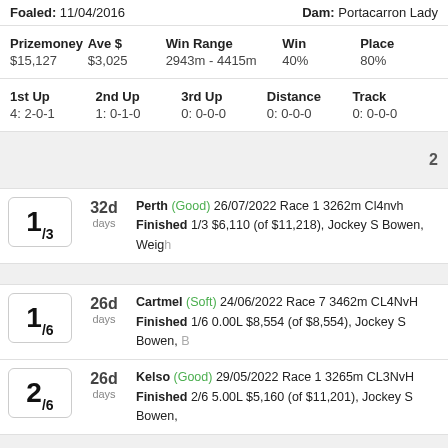Foaled: 11/04/2016   Dam: Portacarron Lady
| Prizemoney | Ave $ | Win Range | Win | Place |
| --- | --- | --- | --- | --- |
| $15,127 | $3,025 | 2943m - 4415m | 40% | 80% |
| 1st Up | 2nd Up | 3rd Up | Distance | Track |
| --- | --- | --- | --- | --- |
| 4: 2-0-1 | 1: 0-1-0 | 0: 0-0-0 | 0: 0-0-0 | 0: 0-0-0 |
2
1/3  32d days  Perth (Good) 26/07/2022 Race 1 3262m Cl4nvh  Finished 1/3 $6,110 (of $11,218), Jockey S Bowen, Weigh
1/6  26d days  Cartmel (Soft) 24/06/2022 Race 7 3462m CL4NvH  Finished 1/6 0.00L $8,554 (of $8,554), Jockey S Bowen,
2/6  26d days  Kelso (Good) 29/05/2022 Race 1 3265m CL3NvH  Finished 2/6 5.00L $5,160 (of $11,201), Jockey S Bowen,